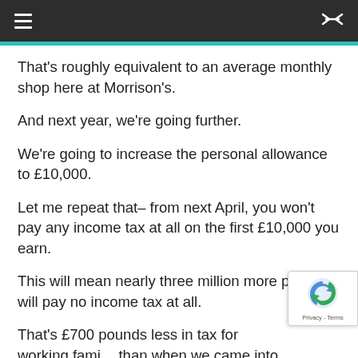≡  ⇌
That's roughly equivalent to an average monthly shop here at Morrison's.
And next year, we're going further.
We're going to increase the personal allowance to £10,000.
Let me repeat that– from next April, you won't pay any income tax at all on the first £10,000 you earn.
This will mean nearly three million more people will pay no income tax at all.
That's £700 pounds less in tax for working fami... than when we came into office.
And let me make clear: we're not doing it by